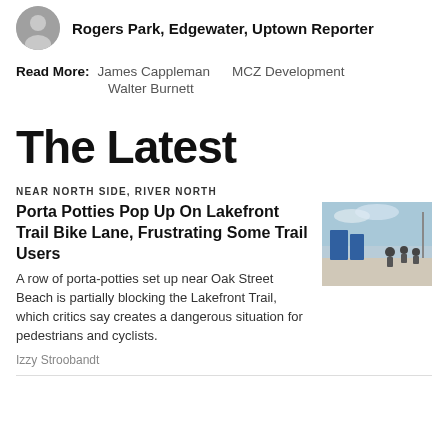Rogers Park, Edgewater, Uptown Reporter
Read More: James Cappleman   MCZ Development   Walter Burnett
The Latest
NEAR NORTH SIDE, RIVER NORTH
Porta Potties Pop Up On Lakefront Trail Bike Lane, Frustrating Some Trail Users
[Figure (photo): Photo of porta-potties on the Lakefront Trail near Oak Street Beach with cyclists in the background]
A row of porta-potties set up near Oak Street Beach is partially blocking the Lakefront Trail, which critics say creates a dangerous situation for pedestrians and cyclists.
Izzy Stroobandt